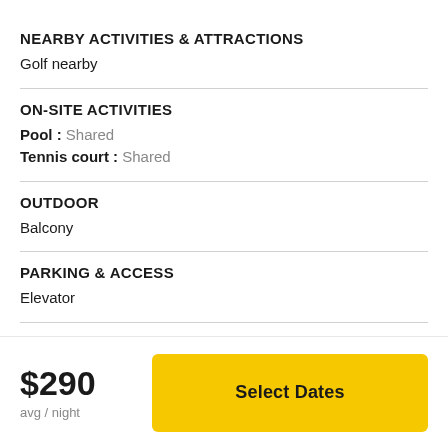NEARBY ACTIVITIES & ATTRACTIONS
Golf nearby
ON-SITE ACTIVITIES
Pool : Shared
Tennis court : Shared
OUTDOOR
Balcony
PARKING & ACCESS
Elevator
THEME
Snowbird-friendly
$290
avg / night
Select Dates